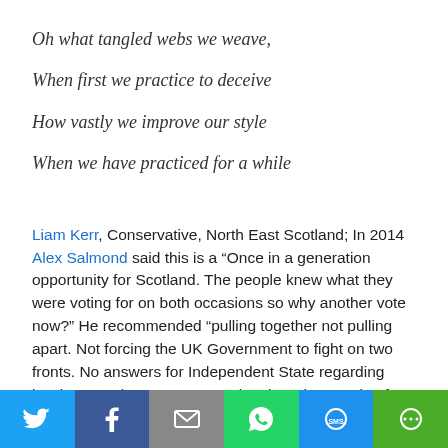Oh what tangled webs we weave,
When first we practice to deceive
How vastly we improve our style
When we have practiced for a while
Liam Kerr, Conservative, North East Scotland; In 2014 Alex Salmond said this is a “Once in a generation opportunity for Scotland. The people knew what they were voting for on both occasions so why another vote now?” He recommended “pulling together not pulling apart. Not forcing the UK Government to fight on two fronts. No answers for Independent State regarding borders,” and went on to mention that “the people of Scotland do not even know what they would be voting
[Figure (infographic): Social media share bar with Twitter, Facebook, Email, WhatsApp, SMS, and More buttons]